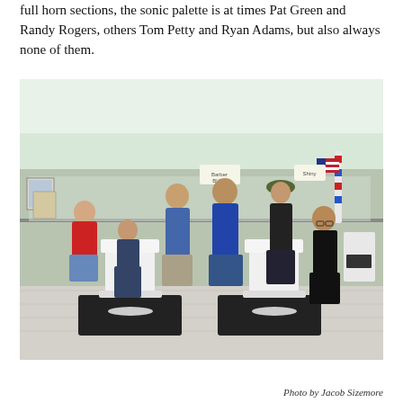full horn sections, the sonic palette is at times Pat Green and Randy Rogers, others Tom Petty and Ryan Adams, but also always none of them.
[Figure (photo): A group of seven men posing inside a barber shop. Several are seated in classic barber chairs while others stand. The setting has mirrors, barber shop poles, and American flag decor on the walls. The men are dressed casually in denim and dark clothing.]
Photo by Jacob Sizemore